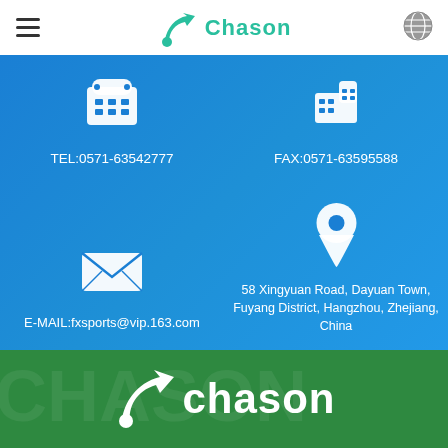Chason
[Figure (infographic): Contact information page with blue background showing TEL, FAX, E-MAIL, and address icons and details]
TEL:0571-63542777
FAX:0571-63595588
E-MAIL:fxsports@vip.163.com
58 Xingyuan Road, Dayuan Town, Fuyang District, Hangzhou, Zhejiang, China
[Figure (logo): Chason logo in white on green background]